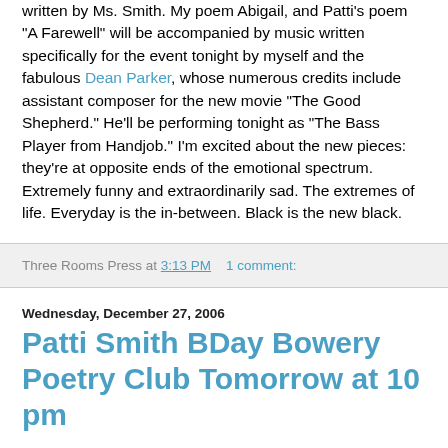written by Ms. Smith. My poem Abigail, and Patti's poem "A Farewell" will be accompanied by music written specifically for the event tonight by myself and the fabulous Dean Parker, whose numerous credits include assistant composer for the new movie "The Good Shepherd." He'll be performing tonight as "The Bass Player from Handjob." I'm excited about the new pieces: they're at opposite ends of the emotional spectrum. Extremely funny and extraordinarily sad. The extremes of life. Everyday is the in-between. Black is the new black.
Three Rooms Press at 3:13 PM   1 comment:
Wednesday, December 27, 2006
Patti Smith BDay Bowery Poetry Club Tomorrow at 10 pm
The big shoe tomorrow night at the Bowery Poetry Club is going to be great, for sure! It's a very special show celebrating Patti Smith's 60th birthday. Patti's performing